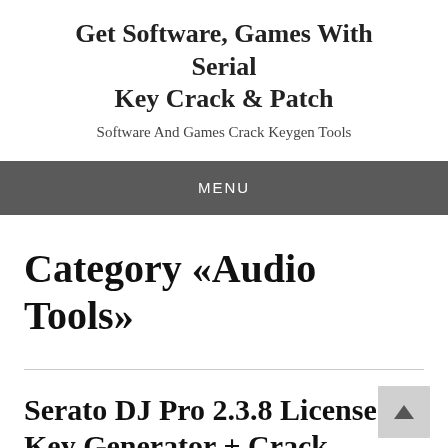Get Software, Games With Serial Key Crack & Patch
Software And Games Crack Keygen Tools
MENU
Category «Audio Tools»
Serato DJ Pro 2.3.8 License Key Generator + Crack